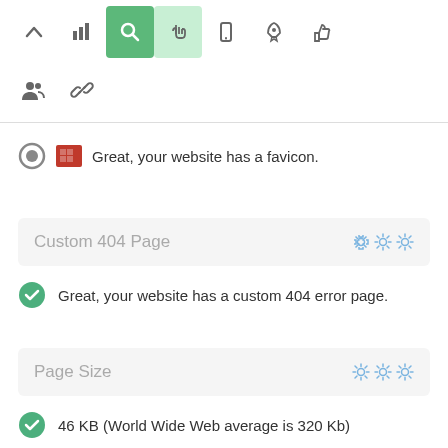[Figure (screenshot): Navigation toolbar with icons: up arrow, bar chart, search (active green), hand cursor (light green), mobile, rocket, thumbs up]
[Figure (screenshot): Second toolbar row with group/people icon and chain link icon]
Great, your website has a favicon.
Custom 404 Page
Great, your website has a custom 404 error page.
Page Size
46 KB (World Wide Web average is 320 Kb)